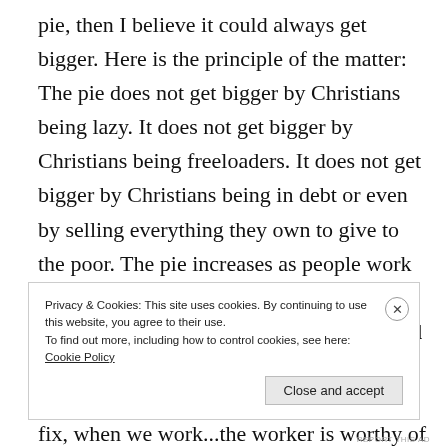pie, then I believe it could always get bigger. Here is the principle of the matter: The pie does not get bigger by Christians being lazy. It does not get bigger by Christians being freeloaders. It does not get bigger by Christians being in debt or even by selling everything they own to give to the poor. The pie increases as people work hard. It increases because people use their God given brain and talents to innovate and create remarkable things, and guess what, when we create, when we build, when we fix, when we work...the worker is worthy of their wages (1st Timothy 5:18).
Privacy & Cookies: This site uses cookies. By continuing to use this website, you agree to their use.
To find out more, including how to control cookies, see here: Cookie Policy
Close and accept